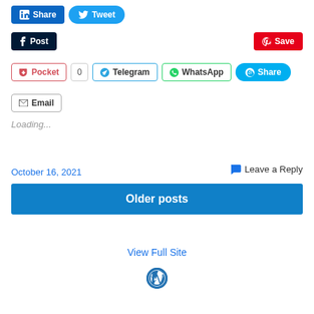[Figure (screenshot): Social media share buttons row 1: LinkedIn Share and Tweet buttons]
[Figure (screenshot): Social media share buttons row 2: Post (Tumblr) and Save (Pinterest) buttons]
[Figure (screenshot): Social media share buttons row 3: Pocket (0), Telegram, WhatsApp, Skype Share buttons]
[Figure (screenshot): Social media share buttons row 4: Email button]
Loading...
October 16, 2021
Leave a Reply
Older posts
View Full Site
[Figure (logo): WordPress logo]